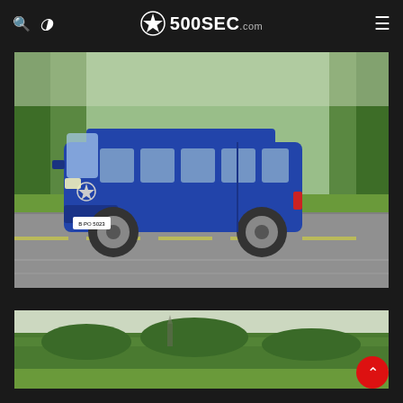500SEC.com
[Figure (photo): Blue Mercedes-Benz Viano/Vito minivan driving on a road, motion blur on background trees and greenery, German license plate visible]
[Figure (photo): Partial view of a vehicle driving through a rural landscape with green trees in background, overcast sky]